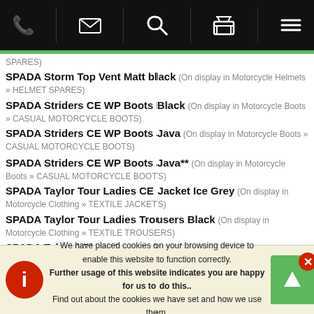[Figure (screenshot): Mobile website navigation bar with phone, email, search, basket, and menu icons on black background]
SPADA Storm Top Vent Matt black (On display in Motorcycle Helmets » HELMET SPARES)
SPADA Striders CE WP Boots Black (On display in Motorcycle Boots » CASUAL MOTORCYCLE BOOTS)
SPADA Striders CE WP Boots Java (On display in Motorcycle Boots » CASUAL MOTORCYCLE BOOTS)
SPADA Striders CE WP Boots Java** (On display in Motorcycle Boots » CASUAL MOTORCYCLE BOOTS)
SPADA Taylor Tour Ladies CE Jacket Ice Grey (On display in Motorcycle Clothing » TEXTILE JACKETS)
SPADA Taylor Tour Ladies Trousers Black (On display in Motorcycle Clothing » TEXTILE TROUSERS)
SPADA Tekto 4 Piece Armour Insert (On display in Motorcycle Clothing » BODY ARMOUR)
SPADA Tekto Back Armour Insert (On display in Motorcycle Clothing » BODY ARMOUR)
SPADA Tekto Back Armour Insert - Spidi Compatible (On display in Motorcycle Clothing » BODY ARMOUR)
SPADA Textile Aqua Jacket Quilted Black No Armour (On display in Motorcycle Clothing » TEXTILE JACKETS)
SPADA Textile Aqua Quilted No Armour Trousers Black (On display in Motorcycle Clothing » TEXTILE TROUSERS)
We have placed cookies on your browsing device to enable this website to function correctly. Further usage of this website indicates you are happy for us to do this.. Find out about the cookies we have set and how we use them.